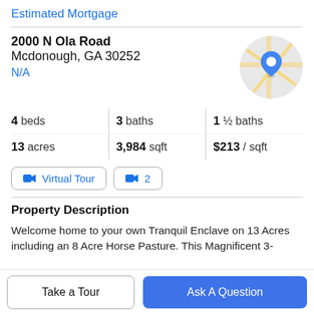Estimated Mortgage
2000 N Ola Road
Mcdonough, GA 30252
N/A
[Figure (map): Circular map thumbnail with a blue location pin marker]
4 beds | 3 baths | 1 ½ baths
13 acres | 3,984 sqft | $213 / sqft
🎥 Virtual Tour | 🎥 2
Property Description
Welcome home to your own Tranquil Enclave on 13 Acres including an 8 Acre Horse Pasture. This Magnificent 3-
Take a Tour | Ask A Question